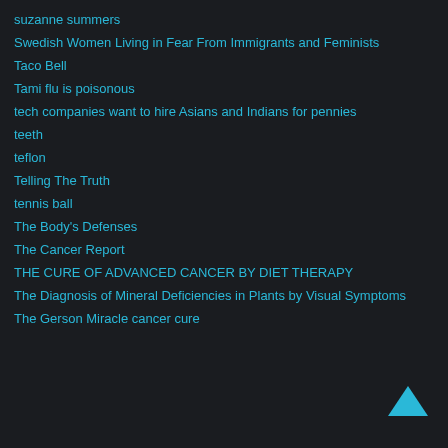suzanne summers
Swedish Women Living in Fear From Immigrants and Feminists
Taco Bell
Tami flu is poisonous
tech companies want to hire Asians and Indians for pennies
teeth
teflon
Telling The Truth
tennis ball
The Body's Defenses
The Cancer Report
THE CURE OF ADVANCED CANCER BY DIET THERAPY
The Diagnosis of Mineral Deficiencies in Plants by Visual Symptoms
The Gerson Miracle cancer cure